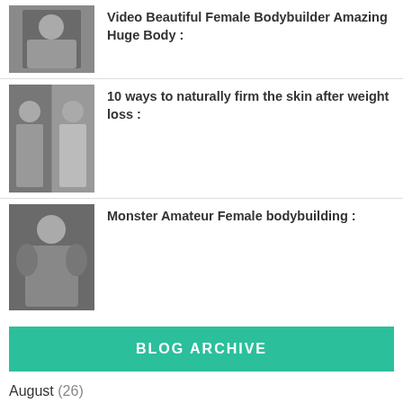[Figure (photo): Thumbnail of a female bodybuilder with muscular arms]
Video Beautiful Female Bodybuilder Amazing Huge Body :
[Figure (photo): Before/after thumbnail showing weight loss transformation]
10 ways to naturally firm the skin after weight loss :
[Figure (photo): Thumbnail of a woman with muscular physique in gym]
Monster Amateur Female bodybuilding :
BLOG ARCHIVE
August (26)
July (92)
June (85)
May (101)
April (61)
March (142)